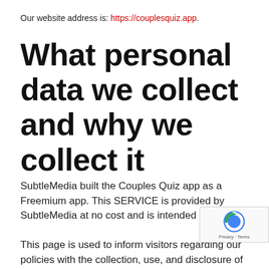Our website address is: https://couplesquiz.app.
What personal data we collect and why we collect it
SubtleMedia built the Couples Quiz app as a Freemium app. This SERVICE is provided by SubtleMedia at no cost and is intended for use as is.
This page is used to inform visitors regarding our policies with the collection, use, and disclosure of Personal Information if anyone decided to use our Service.
If you choose to use our Service, then you agree to the